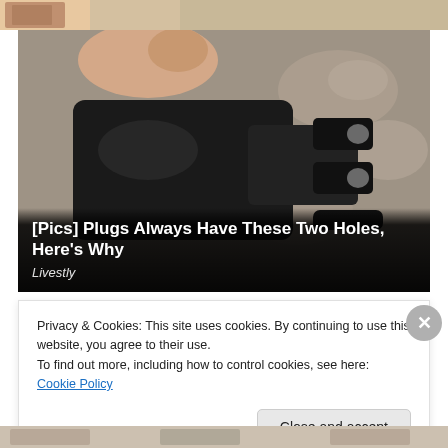[Figure (photo): A hand holding a black electrical plug close-up, showing two prongs with holes, against a granite countertop background. Title overlay: '[Pics] Plugs Always Have These Two Holes, Here's Why' with source 'Livestly'.]
[Pics] Plugs Always Have These Two Holes, Here's Why
Livestly
Privacy & Cookies: This site uses cookies. By continuing to use this website, you agree to their use.
To find out more, including how to control cookies, see here: Cookie Policy